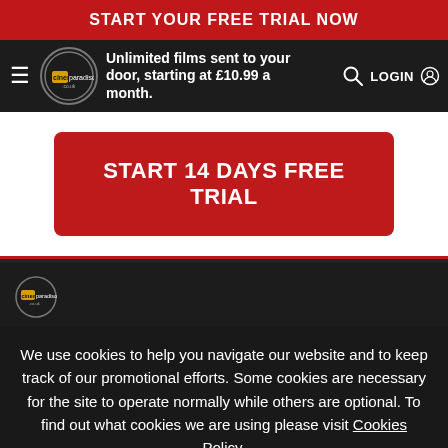START YOUR FREE TRIAL NOW
[Figure (logo): Cinema Paradiso logo with navigation bar showing hamburger menu, logo, tagline 'Unlimited films sent to your door, starting at £10.99 a month.', search icon and LOGIN button]
START 14 DAYS FREE TRIAL
[Figure (logo): Cinema Paradiso footer logo]
We use cookies to help you navigate our website and to keep track of our promotional efforts. Some cookies are necessary for the site to operate normally while others are optional. To find out what cookies we are using please visit Cookies Policy.
Close